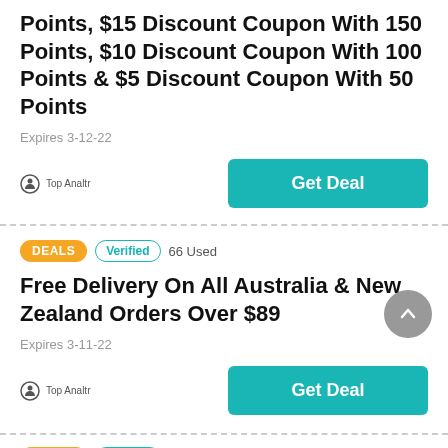Points, $15 Discount Coupon With 150 Points, $10 Discount Coupon With 100 Points & $5 Discount Coupon With 50 Points
Expires 3-12-22
Get Deal
DEALS  Verified  66 Used
Free Delivery On All Australia & New Zealand Orders Over $89
Expires 3-11-22
Get Deal
DEALS  Verified  40 Used